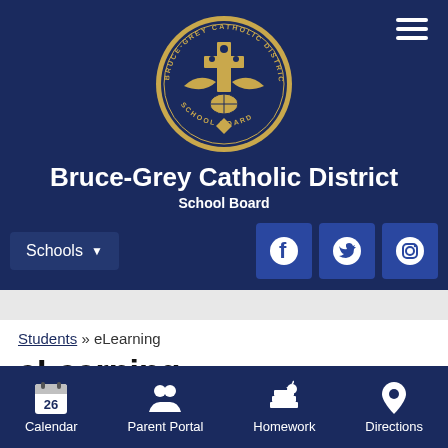[Figure (logo): Bruce-Grey Catholic District School Board circular seal/logo in gold on dark navy background, featuring a cross, eagle, and globe with text around the border]
Bruce-Grey Catholic District School Board
[Figure (screenshot): Navigation bar with Schools dropdown button and social media icons for Facebook, Twitter, and Instagram]
Students » eLearning
eLearning
[Figure (infographic): Footer navigation bar with Calendar (26), Parent Portal, Homework, and Directions icons on navy background]